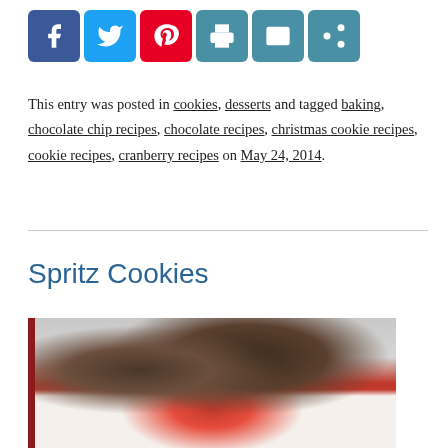[Figure (infographic): Row of social sharing icon buttons: Facebook (blue), Twitter (light blue), Pinterest (red), Print (teal), Email (teal), More/Share (teal)]
This entry was posted in cookies, desserts and tagged baking, chocolate chip recipes, chocolate recipes, christmas cookie recipes, cookie recipes, cranberry recipes on May 24, 2014.
Spritz Cookies
[Figure (photo): Photo of spritz cookies on a red plate with red bead garland, cookies decorated with colorful sprinkles, Christmas theme]